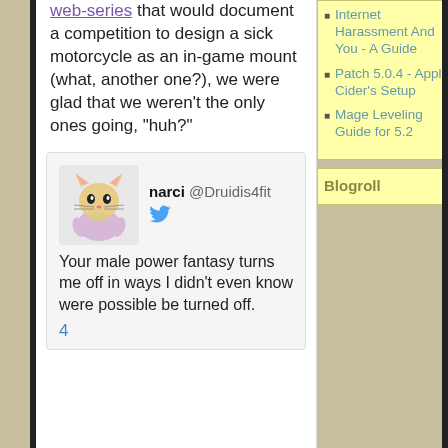web-series that would document a competition to design a sick motorcycle as an in-game mount (what, another one?), we were glad that we weren't the only ones going, "huh?"
[Figure (screenshot): Tweet by narci @Druidis4fit with avatar of a cartoon cat in pink dress. Tweet text: Your male power fantasy turns me off in ways I didn't even know were possible be turned off. Number 4 shown.]
Internet Harassment And You - A Guide
Patch 5.0.4 - Apple Cider's Setup
Mage Leveling Guide for 5.2
Blogroll